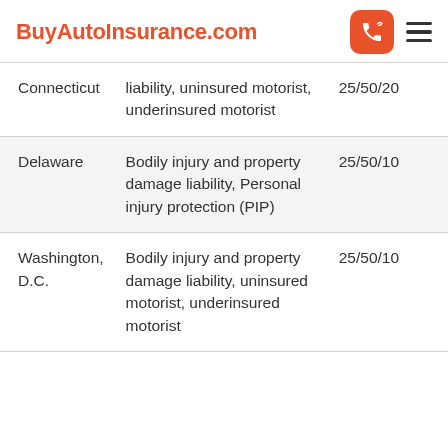BuyAutoInsurance.com
| Connecticut | liability, uninsured motorist, underinsured motorist | 25/50/20 |
| Delaware | Bodily injury and property damage liability, Personal injury protection (PIP) | 25/50/10 |
| Washington, D.C. | Bodily injury and property damage liability, uninsured motorist, underinsured motorist | 25/50/10 |